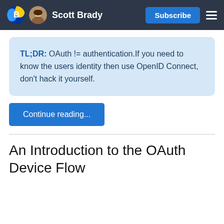Scott Brady  Subscribe
TL;DR: OAuth != authentication.If you need to know the users identity then use OpenID Connect, don't hack it yourself.
Continue reading...
An Introduction to the OAuth Device Flow